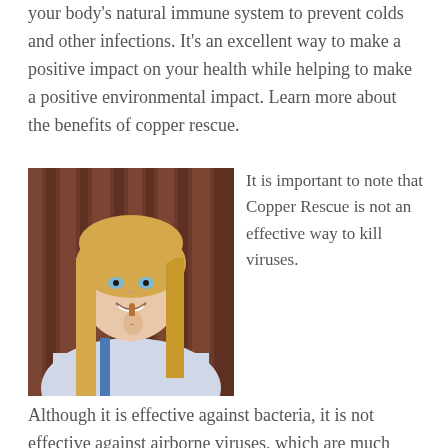your body's natural immune system to prevent colds and other infections. It's an excellent way to make a positive impact on your health while helping to make a positive environmental impact. Learn more about the benefits of copper rescue.
[Figure (photo): A smiling young woman with long blonde hair holding a small copper-colored object near her nose, standing in front of a wooden background.]
It is important to note that Copper Rescue is not an effective way to kill viruses.
Although it is effective against bacteria, it is not effective against airborne viruses, which are much harder to destroy. Another issue with Copper Rescue is that it is not as effective